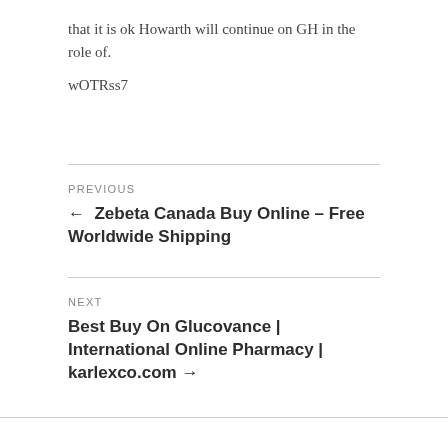that it is ok Howarth will continue on GH in the role of.
wOTRss7
PREVIOUS
← Zebeta Canada Buy Online – Free Worldwide Shipping
NEXT
Best Buy On Glucovance | International Online Pharmacy | karlexco.com →